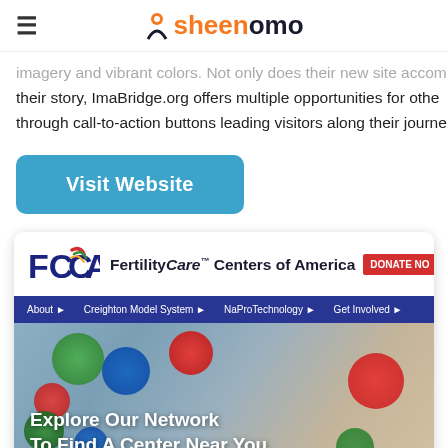sheenomo
imagery and vibrant colors. Not only does their new site accom... their story, ImaBridge.org offers multiple opportunities for othe... through call-to-action buttons leading visitors along their journe...
Visit Website
[Figure (screenshot): Screenshot of FertilityCare Centers of America website showing the FCCA logo, navigation bar with About, Creighton Model System, NaProTechnology, Get Involved links, and a hero image with colorful pins and the text Explore Our Network To Find A Center Near You]